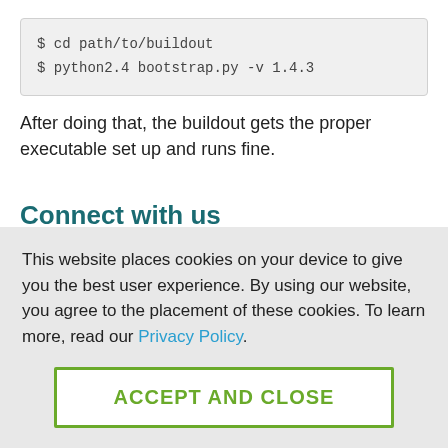$ cd path/to/buildout
$ python2.4 bootstrap.py -v 1.4.3
After doing that, the buildout gets the proper executable set up and runs fine.
Connect with us
This website places cookies on your device to give you the best user experience. By using our website, you agree to the placement of these cookies. To learn more, read our Privacy Policy.
ACCEPT AND CLOSE